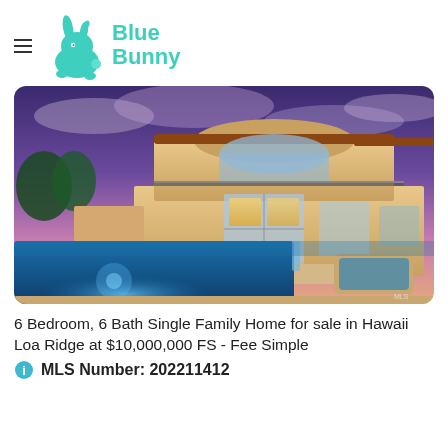Blue Bunny
[Figure (photo): Luxury two-story home with pool at dusk, illuminated exterior, Hawaiian style architecture with glass walls and balconies]
6 Bedroom, 6 Bath Single Family Home for sale in Hawaii Loa Ridge at $10,000,000 FS - Fee Simple
MLS Number: 202211412